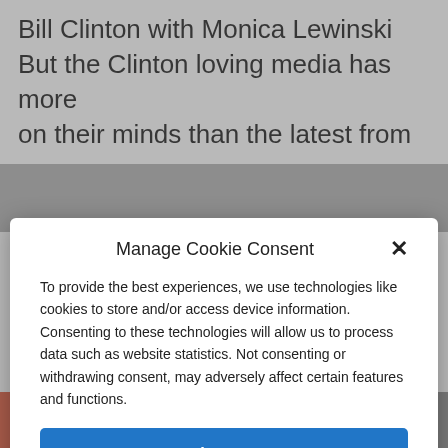Bill Clinton with Monica Lewinski But the Clinton loving media has more on their minds than the latest from
Manage Cookie Consent
To provide the best experiences, we use technologies like cookies to store and/or access device information. Consenting to these technologies will allow us to process data such as website statistics. Not consenting or withdrawing consent, may adversely affect certain features and functions.
Accept
Cookie Policy   Privacy Policy
Clinton and Patterson appeared together on NBC's The Today Show when host Craig